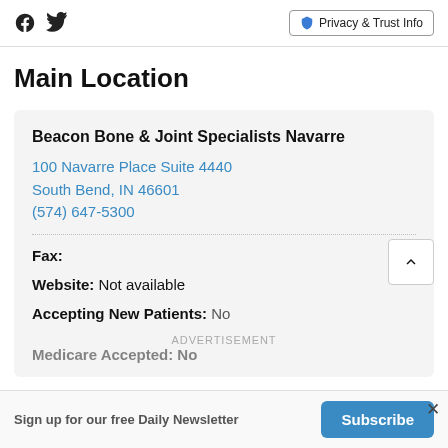Facebook Twitter | Privacy & Trust Info
Main Location
Beacon Bone & Joint Specialists Navarre
100 Navarre Place Suite 4440
South Bend, IN 46601
(574) 647-5300
Fax:
Website: Not available
Accepting New Patients: No
Medicare Accepted: No
ADVERTISEMENT
Sign up for our free Daily Newsletter